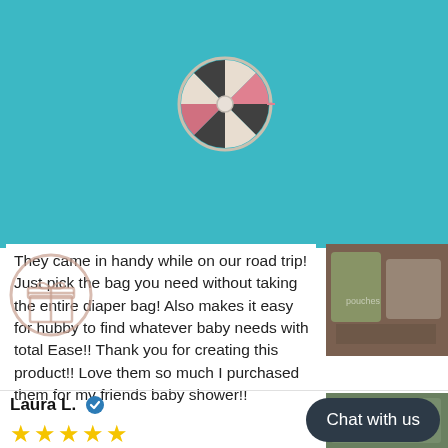[Figure (illustration): Teal/blue-green background area at top of page]
[Figure (illustration): Prize wheel / spin wheel graphic in center of teal background]
They came in handy while on our road trip! Just pick the bag you need without taking the entire diaper bag! Also makes it easy for hubby to find whatever baby needs with total Ease!! Thank you for creating this product!! Love them so much I purchased them for my friends baby shower!!
[Figure (photo): Product photo showing colorful pouches/bags]
Laura L. ✔
★★★★★
[Figure (photo): Second product photo showing bag/pouch]
Chat with us